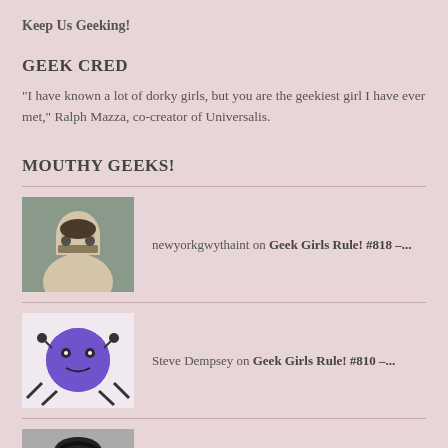Keep Us Geeking!
GEEK CRED
"I have known a lot of dorky girls, but you are the geekiest girl I have ever met," Ralph Mazza, co-creator of Universalis.
MOUTHY GEEKS!
newyorkgwythaint on Geek Girls Rule! #818 –...
Steve Dempsey on Geek Girls Rule! #810 –...
geekgirlsrule on Geek Girls Rule! #654 –...